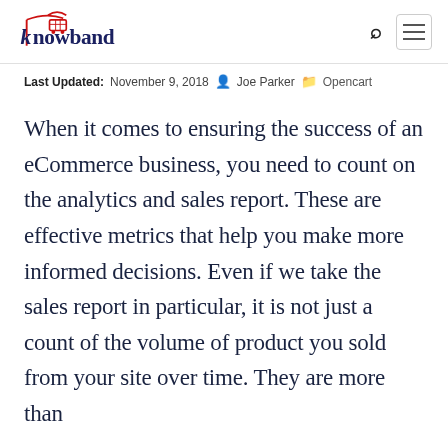Knowband
Last Updated: November 9, 2018  Joe Parker  Opencart
When it comes to ensuring the success of an eCommerce business, you need to count on the analytics and sales report. These are effective metrics that help you make more informed decisions. Even if we take the sales report in particular, it is not just a count of the volume of product you sold from your site over time. They are more than